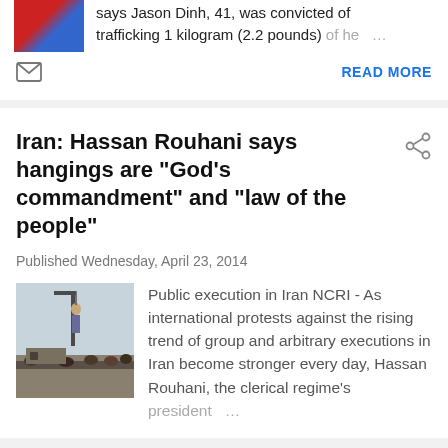says Jason Dinh, 41, was convicted of trafficking 1 kilogram (2.2 pounds) of he…
READ MORE
Iran: Hassan Rouhani says hangings are "God's commandment" and "law of the people"
Published Wednesday, April 23, 2014
[Figure (photo): Public execution scene in Iran, crane with hanging figure visible, crowd below]
Public execution in Iran NCRI - As international protests against the rising trend of group and arbitrary executions in Iran become stronger every day, Hassan Rouhani, the clerical regime's president…